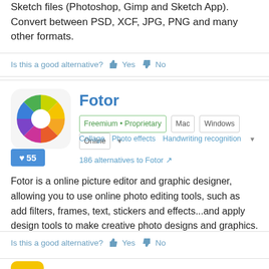Sketch files (Photoshop, Gimp and Sketch App). Convert between PSD, XCF, JPG, PNG and many other formats.
Is this a good alternative? Yes No
Fotor
Freemium • Proprietary  Mac  Windows  Online  Collage  Photo effects  Handwriting recognition
♥55
186 alternatives to Fotor
Fotor is a online picture editor and graphic designer, allowing you to use online photo editing tools, such as add filters, frames, text, stickers and effects...and apply design tools to make creative photo designs and graphics.
Is this a good alternative? Yes No